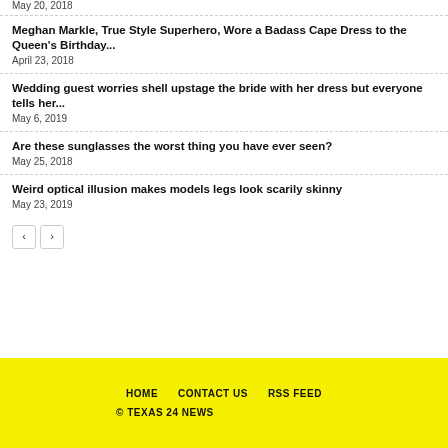May 20, 2018
Meghan Markle, True Style Superhero, Wore a Badass Cape Dress to the Queen's Birthday...
April 23, 2018
Wedding guest worries shell upstage the bride with her dress but everyone tells her...
May 6, 2019
Are these sunglasses the worst thing you have ever seen?
May 25, 2018
Weird optical illusion makes models legs look scarily skinny
May 23, 2019
HOME   CONTACT US   RSS FEED
© TEXAS 24 NEWS